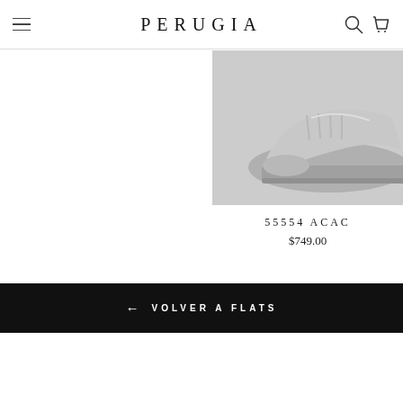PERUGIA
[Figure (photo): Partial view of a gray suede flat shoe with laces and platform sole, cropped at the right edge of the page]
55554 ACAC
$749.00
← VOLVER A FLATS